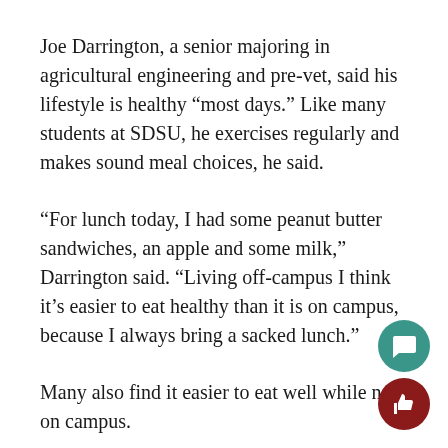Joe Darrington, a senior majoring in agricultural engineering and pre-vet, said his lifestyle is healthy “most days.” Like many students at SDSU, he exercises regularly and makes sound meal choices, he said.
“For lunch today, I had some peanut butter sandwiches, an apple and some milk,” Darrington said. “Living off-campus I think it’s easier to eat healthy than it is on campus, because I always bring a sacked lunch.”
Many also find it easier to eat well while not on campus.
“If I am on campus sometimes I go to the vending machine if I need an extra snack ? and that’s not the best when I could go grab an apple at my house,” said Janni Anderson, a junior music education and physics major. “So yes, I gue… it’s probably a little worse while school is in session.”